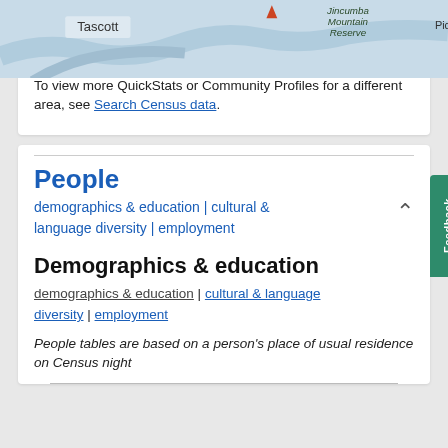[Figure (map): Map showing Tascott area with OpenStreetMap data, Jincumba Mountain Reserve and Picke visible, powered by Esri]
Map data © OpenStreetMap contributors, CC-... Powered by Esri
Other 2016 Census products available for this area:
Community Profiles
To view more QuickStats or Community Profiles for a different area, see Search Census data.
People
demographics & education | cultural & language diversity | employment
Demographics & education
demographics & education | cultural & language diversity | employment
People tables are based on a person's place of usual residence on Census night